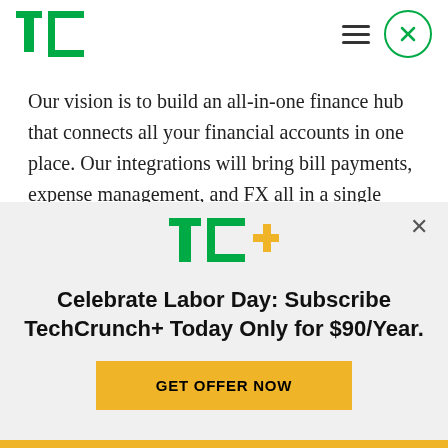TechCrunch
Our vision is to build an all-in-one finance hub that connects all your financial accounts in one place. Our integrations will bring bill payments, expense management, and FX all in a single product that is easy to use," co-founder and CEO Christopher Zemina said in a statement.
Other startups have been working on cash flow
[Figure (logo): TechCrunch TC+ logo in green and yellow]
Celebrate Labor Day: Subscribe TechCrunch+ Today Only for $90/Year.
GET OFFER NOW